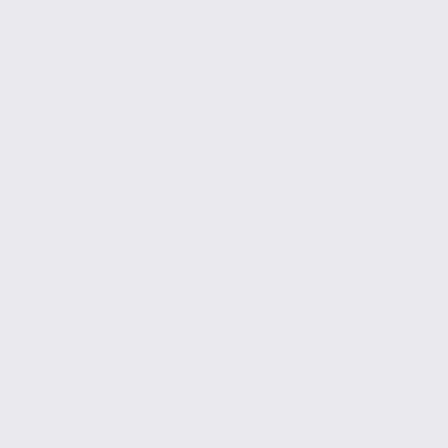July 2007
June 2007
May 2007
April 2007
March 2007
February 2007
January 2007
December 2006
November 2006
October 2006
September 2006
August 2006
July 2006
June 2006
May 2006
April 2006
March 2006
February 2006
January 2006
December 2005
November 2005
October 2005
September 2005
August 2005
July 2005
June 2005
May 2005
April 2005
March 2005
February 2005
January 2005
December 2004